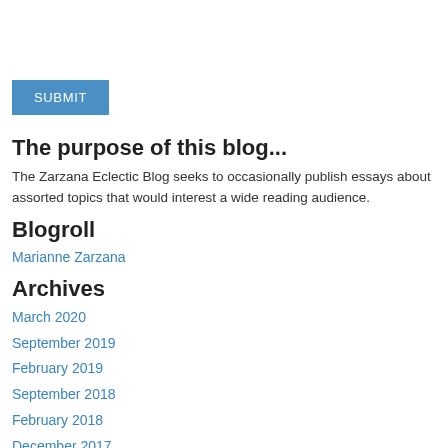[Figure (other): Blue SUBMIT button]
The purpose of this blog...
The Zarzana Eclectic Blog seeks to occasionally publish essays about assorted topics that would interest a wide reading audience.
Blogroll
Marianne Zarzana
Archives
March 2020
September 2019
February 2019
September 2018
February 2018
December 2017
May 2017